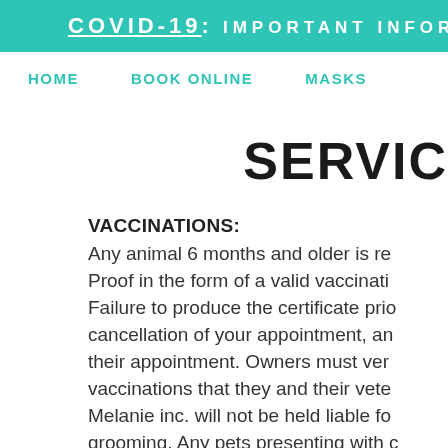COVID-19: IMPORTANT INFORM
HOME   BOOK ONLINE   MASKS
SERVIC
VACCINATIONS:
Any animal 6 months and older is re
Proof in the form of a valid vaccinati
Failure to produce the certificate prio
cancellation of your appointment, an
their appointment. Owners must ver
vaccinations that they and their veter
Melanie inc. will not be held liable fo
grooming. Any pets presenting with c